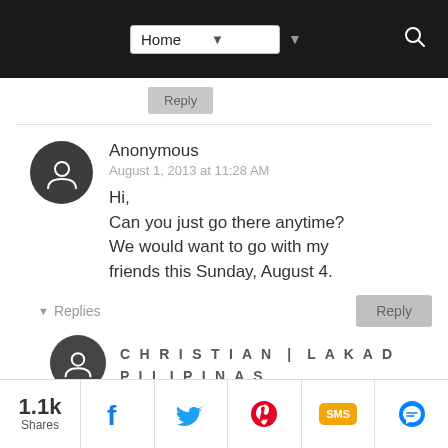Home (navigation bar with search)
Reply
Anonymous
August 1, 2013 at 11:28 AM

Hi,
Can you just go there anytime? We would want to go with my friends this Sunday, August 4.
Reply
▾ Replies
CHRISTIAN | LAKAD PILIPINAS
1.1k Shares